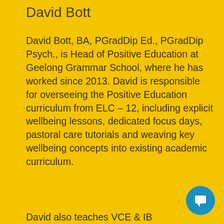David Bott
David Bott, BA, PGradDip Ed., PGradDip Psych., is Head of Positive Education at Geelong Grammar School, where he has worked since 2013. David is responsible for overseeing the Positive Education curriculum from ELC – 12, including explicit wellbeing lessons, dedicated focus days, pastoral care tutorials and weaving key wellbeing concepts into existing academic curriculum.
David also teaches VCE & IB...